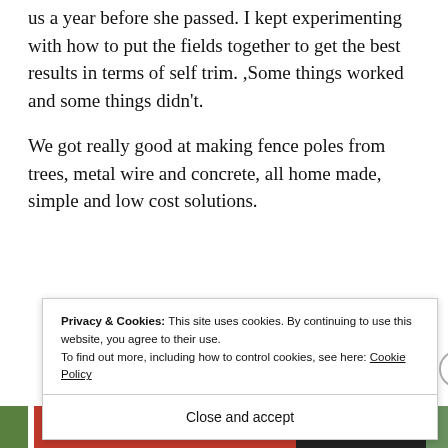us a year before she passed. I kept experimenting with how to put the fields together to get the best results in terms of self trim. ,Some things worked and some things didn't.
We got really good at making fence poles from trees, metal wire and concrete, all home made, simple and low cost solutions.
Privacy & Cookies: This site uses cookies. By continuing to use this website, you agree to their use.
To find out more, including how to control cookies, see here: Cookie Policy
Close and accept